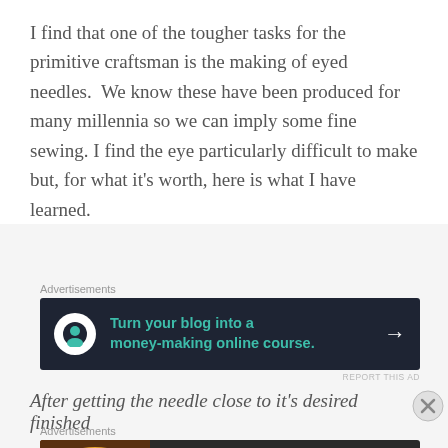I find that one of the tougher tasks for the primitive craftsman is the making of eyed needles.  We know these have been produced for many millennia so we can imply some fine sewing. I find the eye particularly difficult to make but, for what it's worth, here is what I have learned.
Advertisements
[Figure (infographic): Dark navy advertisement banner: circular white icon with tree/person silhouette, teal text reading 'Turn your blog into a money-making online course.' with white arrow on right]
After getting the needle close to it's desired finished
Advertisements
[Figure (infographic): Advertisement banner for Seamless food delivery with pizza image on left, red Seamless logo badge in center, and ORDER NOW button on right, dark background]